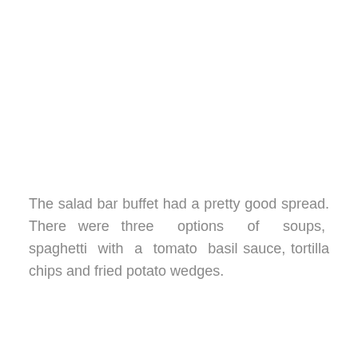The salad bar buffet had a pretty good spread. There were three options of soups, spaghetti with a tomato basil sauce, tortilla chips and fried potato wedges.